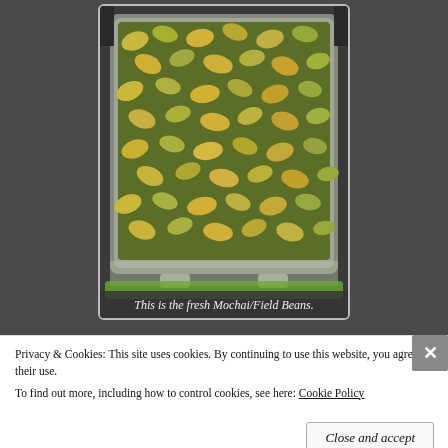[Figure (photo): A plastic container filled with fresh green and yellow Mochai/Field Beans (hyacinth beans), set against a dark background.]
This is the fresh Mochai/Field Beans.
Privacy & Cookies: This site uses cookies. By continuing to use this website, you agree to their use.
To find out more, including how to control cookies, see here: Cookie Policy